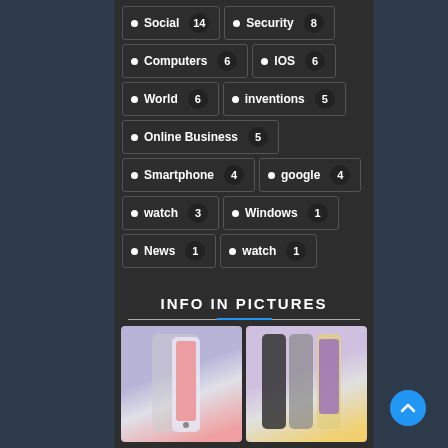Social 14
Security 8
Computers 6
IOS 6
World 6
inventions 5
Online Business 5
Smartphone 4
google 4
watch 3
Windows 1
News 1
watch 1
INFO IN PICTURES
[Figure (photo): Two smartphone product images side by side at the bottom of the page]